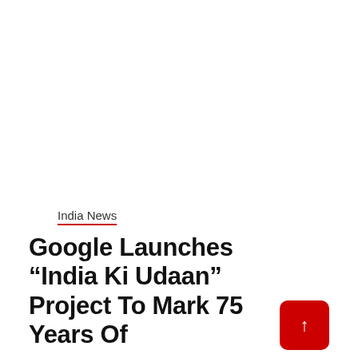[Figure (photo): Large white/blank image area occupying the upper portion of the page]
India News
Google Launches “India Ki Udaan” Project To Mark 75 Years Of Independence